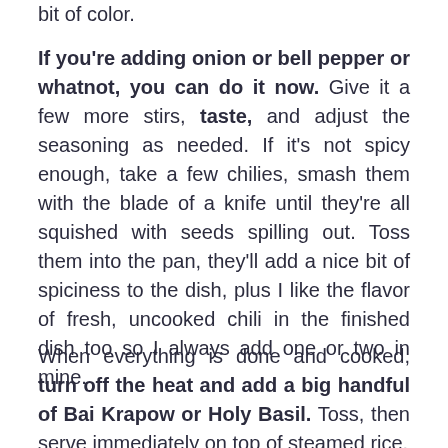bit of color.
If you're adding onion or bell pepper or whatnot, you can do it now. Give it a few more stirs, taste, and adjust the seasoning as needed. If it's not spicy enough, take a few chilies, smash them with the blade of a knife until they're all squished with seeds spilling out. Toss them into the pan, they'll add a nice bit of spiciness to the dish, plus I like the flavor of fresh, uncooked chili in the finished dish too so I always add one or two in mine.
When everything is done and cooked, turn off the heat and add a big handful of Bai Krapow or Holy Basil. Toss, then serve immediately on top of steamed rice.